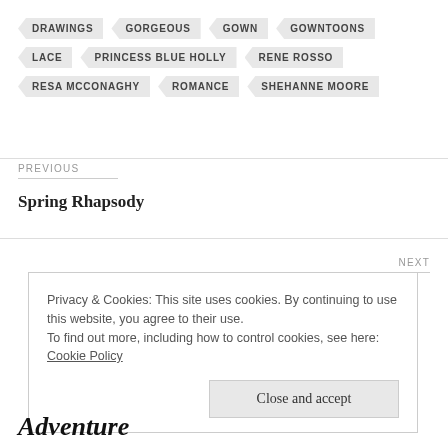DRAWINGS
GORGEOUS
GOWN
GOWNTOONS
LACE
PRINCESS BLUE HOLLY
RENE ROSSO
RESA MCCONAGHY
ROMANCE
SHEHANNE MOORE
PREVIOUS
Spring Rhapsody
NEXT
Privacy & Cookies: This site uses cookies. By continuing to use this website, you agree to their use.
To find out more, including how to control cookies, see here: Cookie Policy
Close and accept
Adventure